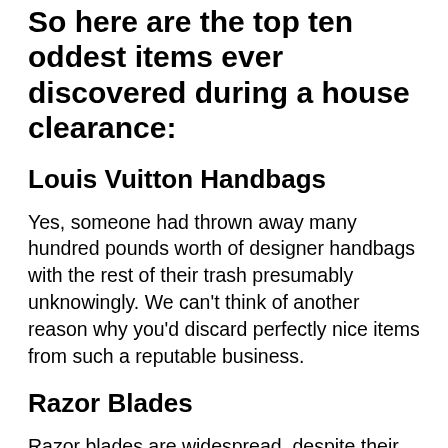So here are the top ten oddest items ever discovered during a house clearance:
Louis Vuitton Handbags
Yes, someone had thrown away many hundred pounds worth of designer handbags with the rest of their trash presumably unknowingly. We can't think of another reason why you'd discard perfectly nice items from such a reputable business.
Razor Blades
Razor blades are widespread, despite their odd appearance, especially in older homes. People used to buy new blades to fit their old razors before disposable razors became popular. They needed a safe place to dispose of the old, blunted blades, so slots were cut into the backs of